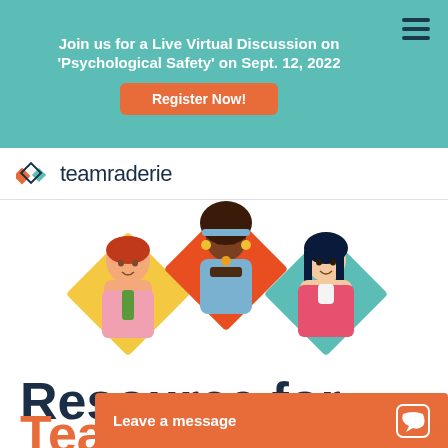Join us for a Live Virtual Discussion on 'Psychological Safety' on Sept. 12, 2022
Register Now!
[Figure (logo): Teamraderie logo with diamond icon]
[Figure (illustration): Three illustrated avatar characters in diamond frames: male with red hair on yellow diamond, female with curly hair on orange-red diamond, female with dark hair on teal diamond]
Resource for Team